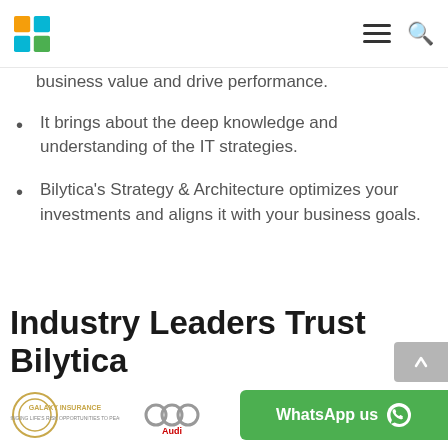Bilytica logo navigation bar with hamburger menu and search icon
business value and drive performance.
It brings about the deep knowledge and understanding of the IT strategies.
Bilytica's Strategy & Architecture optimizes your investments and aligns it with your business goals.
Industry Leaders Trust Bilytica
[Figure (logo): Galaxy Insurance logo]
[Figure (logo): Audi logo (partial)]
[Figure (other): WhatsApp us button in green with WhatsApp icon]